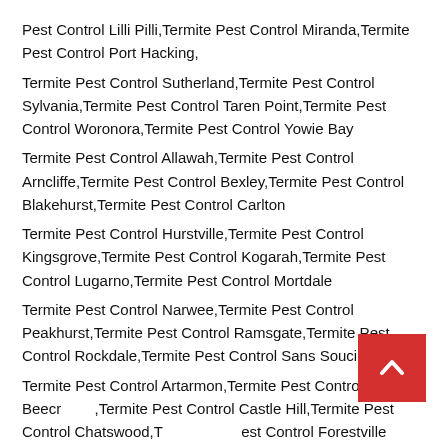Pest Control Lilli Pilli,Termite Pest Control Miranda,Termite Pest Control Port Hacking,
Termite Pest Control Sutherland,Termite Pest Control Sylvania,Termite Pest Control Taren Point,Termite Pest Control Woronora,Termite Pest Control Yowie Bay
Termite Pest Control Allawah,Termite Pest Control Arncliffe,Termite Pest Control Bexley,Termite Pest Control Blakehurst,Termite Pest Control Carlton
Termite Pest Control Hurstville,Termite Pest Control Kingsgrove,Termite Pest Control Kogarah,Termite Pest Control Lugarno,Termite Pest Control Mortdale
Termite Pest Control Narwee,Termite Pest Control Peakhurst,Termite Pest Control Ramsgate,Termite Pest Control Rockdale,Termite Pest Control Sans Souci
Termite Pest Control Artarmon,Termite Pest Control Beecroft,Termite Pest Control Castle Hill,Termite Pest Control Chatswood,Termite Pest Control Forestville
Termite Pest Control Glenhaven,Termite Pest Control Gordon,Termite